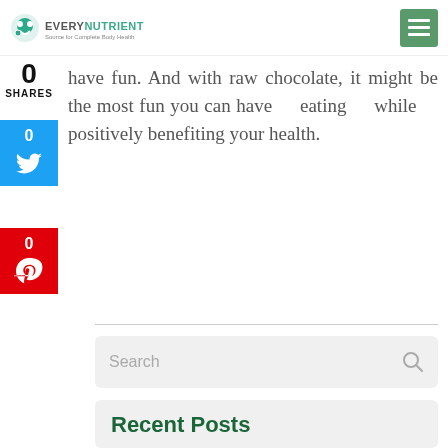EVERY NUTRIENT - Source for Complete Body Health
have fun. And with raw chocolate, it might be the most fun you can have eating while positively benefiting your health.
0 SHARES
[Figure (screenshot): Twitter share button with count 0]
[Figure (screenshot): Pinterest share button with count 0]
Search
Recent Posts